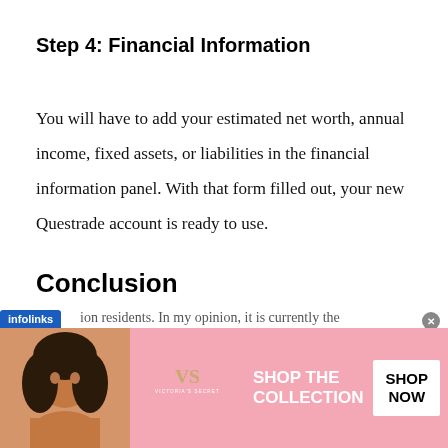Step 4: Financial Information
You will have to add your estimated net worth, annual income, fixed assets, or liabilities in the financial information panel. With that form filled out, your new Questrade account is ready to use.
Conclusion
Questrade is an amazing service available to
[Figure (other): Advertisement banner for Victoria's Secret showing a model, VS logo, 'SHOP THE COLLECTION' text, and 'SHOP NOW' button. An infolinks badge is visible at the top left of the ad.]